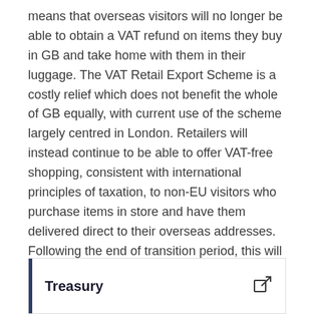means that overseas visitors will no longer be able to obtain a VAT refund on items they buy in GB and take home with them in their luggage. The VAT Retail Export Scheme is a costly relief which does not benefit the whole of GB equally, with current use of the scheme largely centred in London. Retailers will instead continue to be able to offer VAT-free shopping, consistent with international principles of taxation, to non-EU visitors who purchase items in store and have them delivered direct to their overseas addresses. Following the end of transition period, this will also be available to EU visitors.
Statement from
Treasury